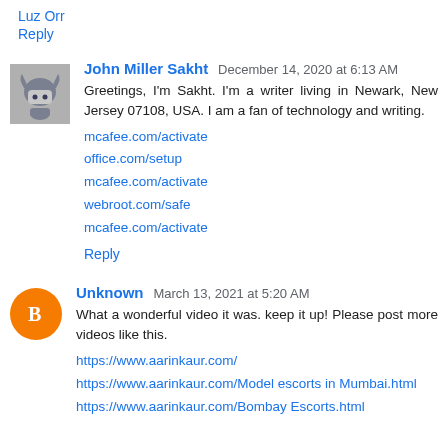Luz Orr
Reply
John Miller Sakht  December 14, 2020 at 6:13 AM
Greetings, I'm Sakht. I'm a writer living in Newark, New Jersey 07108, USA. I am a fan of technology and writing.
mcafee.com/activate
office.com/setup
mcafee.com/activate
webroot.com/safe
mcafee.com/activate
Reply
Unknown  March 13, 2021 at 5:20 AM
What a wonderful video it was. keep it up! Please post more videos like this.
https://www.aarinkaur.com/
https://www.aarinkaur.com/Model escorts in Mumbai.html
https://www.aarinkaur.com/Bombay Escorts.html